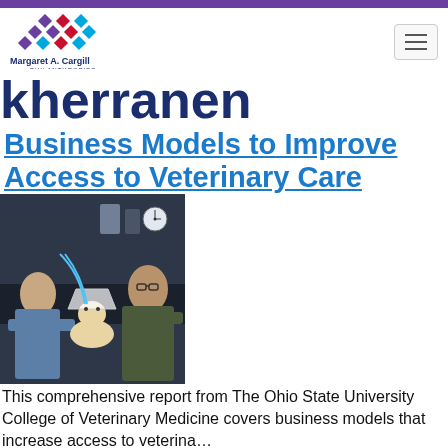Margaret A. Cargill Philanthropies
kherranen
Business Models to Improve Access to Veterinary Care
[Figure (photo): A veterinarian and a person examining a small dog wearing an Elizabethan collar in a veterinary clinic setting.]
This comprehensive report from The Ohio State University College of Veterinary Medicine covers business models that increase access to veterina…